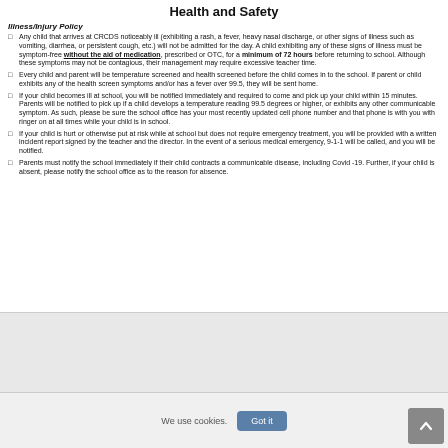Health and Safety
Illness/Injury Policy
Any child that arrives at CRCDS noticeably ill (exhibiting a rash, a fever, heavy nasal discharge, or other signs of illness such as vomiting, diarrhea, or persistent cough, etc.) will not be admitted for the day. A child exhibiting any of these signs of illness must be symptom-free without the aid of medication, prescribed or OTC, for a minimum of 72 hours before returning to school. Although these symptoms may not be contagious, their management may require excessive teacher time.
Every child and parent will be temperature screened and health screened before the child comes in to the school. If parent or child exhibits any of the health screen symptoms and/or has a fever over 99.5, they will be sent home.
If your child becomes ill at school, you will be notified immediately and required to come and pick up your child within 15 minutes. Parents will be notified to pick up if a child develops a temperature reading 99.5 degrees or higher, or exhibits any other communicable symptom. As such, please be sure the school office has your most recently updated cell phone number and that phone is with you with ringer on at all times while your child is in school.
If your child is hurt or otherwise put at risk while at school but does not require emergency treatment, you will be provided with a written incident report signed by the teacher and the director. In the event of a serious medical emergency, 9-1-1 will be called, and you will be notified.
Parents must notify the school immediately if their child contracts a communicable disease, including Covid -19. Further, if your child is absent, please notify the school office as to the reason for absence.
6